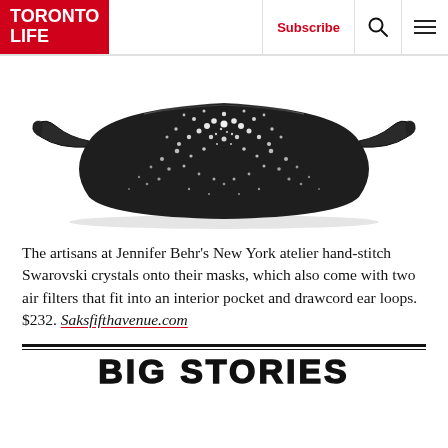TORONTO LIFE | Subscribe
[Figure (photo): A black jeweled face mask covered in Swarovski crystals, with elastic ear loops on each side, photographed on a white background.]
The artisans at Jennifer Behr's New York atelier hand-stitch Swarovski crystals onto their masks, which also come with two air filters that fit into an interior pocket and drawcord ear loops. $232. Saksfifthavenue.com
BIG STORIES